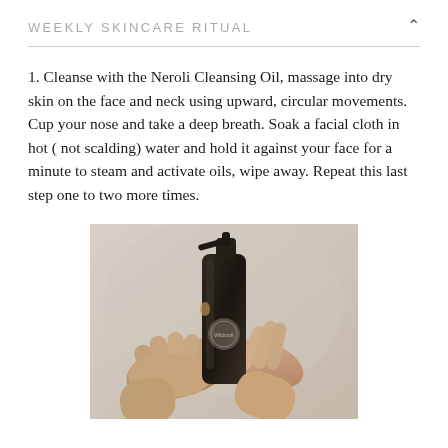WEEKLY SKINCARE RITUAL
1. Cleanse with the Neroli Cleansing Oil, massage into dry skin on the face and neck using upward, circular movements. Cup your nose and take a deep breath. Soak a facial cloth in hot ( not scalding) water and hold it against your face for a minute to steam and activate oils, wipe away. Repeat this last step one to two more times.
[Figure (photo): Hands holding a dark pump bottle of Wildcraft Neroli cleansing oil product, dispensing oil into palm, against neutral beige background.]